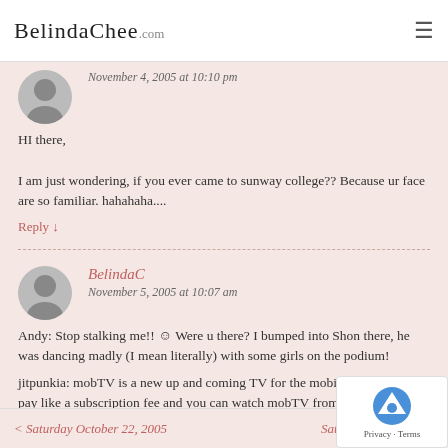BelindaChee.com
November 4, 2005 at 10:10 pm
HI there,

I am just wondering, if you ever came to sunway college?? Because ur face are so familiar. hahahaha....
Reply ↓
BelindaC
November 5, 2005 at 10:07 am
Andy: Stop stalking me!! 🙂 Were u there? I bumped into Shon there, he was dancing madly (I mean literally) with some girls on the podium!
jitpunkia: mobTV is a new up and coming TV for the mobile phone. You pay like a subscription fee and you can watch mobTV from your 3G mobile!! Not out yet, coming soon!!
< Saturday October 22, 2005   Saturday November 5